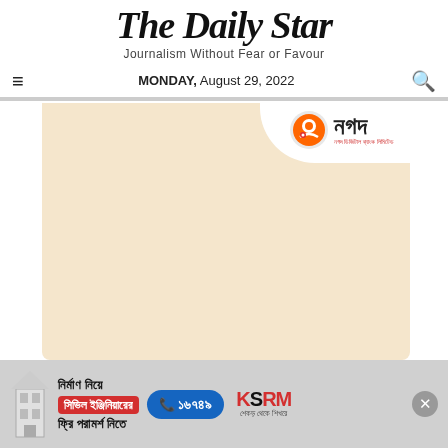The Daily Star
Journalism Without Fear or Favour
MONDAY, August 29, 2022
[Figure (other): Nagad mobile financial service advertisement with beige/cream colored background and folded corner effect showing the Nagad logo in the top right]
[Figure (other): Bottom banner advertisement for KSRM civil engineering consultation service showing Bengali text, phone number 16749, and KSRM logo with close button]